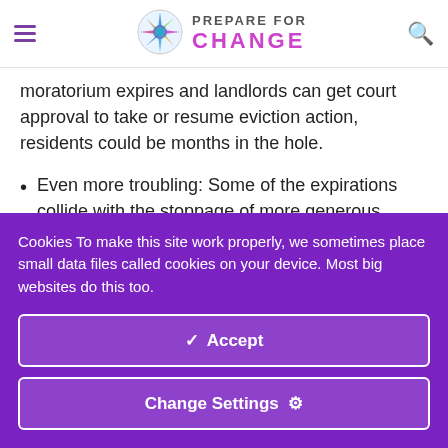PREPARE FOR CHANGE
moratorium expires and landlords can get court approval to take or resume eviction action, residents could be months in the hole.
Even more troubling: Some of the expirations collide with the stoppage of more generous unemployment benefits
Cookies To make this site work properly, we sometimes place small data files called cookies on your device. Most big websites do this too.
✓ Accept
Change Settings ⚙